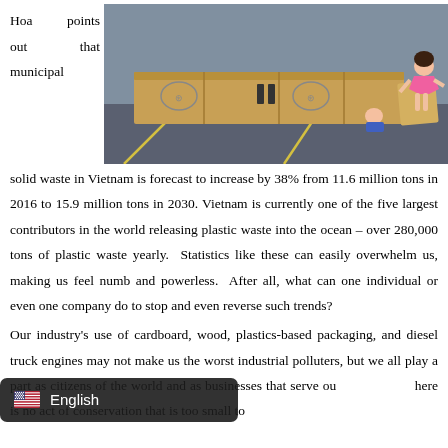Hoa points out that municipal
[Figure (photo): Children playing with large cardboard boxes arranged in a line on an indoor floor. A girl in a pink dress stands on the right side.]
solid waste in Vietnam is forecast to increase by 38% from 11.6 million tons in 2016 to 15.9 million tons in 2030. Vietnam is currently one of the five largest contributors in the world releasing plastic waste into the ocean – over 280,000 tons of plastic waste yearly. Statistics like these can easily overwhelm us, making us feel numb and powerless. After all, what can one individual or even one company do to stop and even reverse such trends?
Our industry's use of cardboard, wood, plastics-based packaging, and diesel truck engines may not make us the worst industrial polluters, but we all play a part as citizens of the world and as businesses that serve ou here is no act of conservation that is too small to